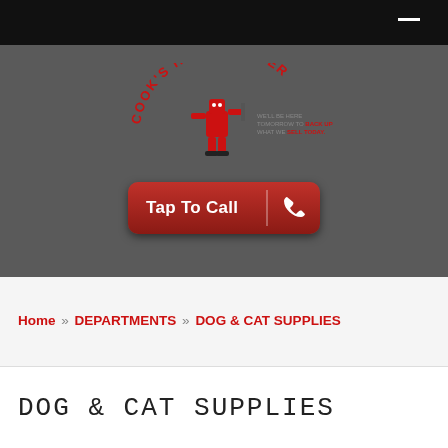[Figure (logo): Cook's Home Center logo — circular arc text reading 'COOK'S HOME CENTER' around a cartoon robot/handyman figure in red, with tagline 'WE'LL BE HERE TOMORROW TO BACK UP WHAT WE SELL TODAY.']
Tap To Call
Home » DEPARTMENTS » DOG & CAT SUPPLIES
DOG & CAT SUPPLIES